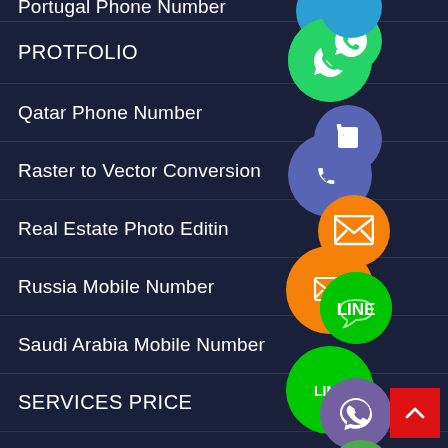Portugal Phone Number
PROTFOLIO
Qatar Phone Number
Raster to Vector Conversion
Real Estate Photo Editing
Russia Mobile Number
Saudi Arabia Mobile Number
SERVICES PRICE
Slovenia Phone Number
South Africa Phone Number
[Figure (screenshot): Navigation list with social media and messaging app icons (WhatsApp, phone, email, LINE, Viber, close button) overlaid on the right side of the list items, with a red back-to-top button.]